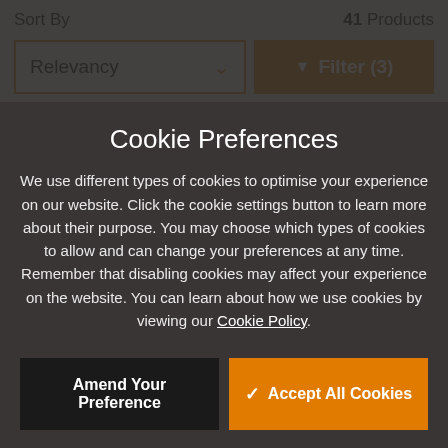Sort By
41 Products
Relevancy
Filter (3)
7200rpm
£ 188.99 inc. vat
Cookie Preferences
We use different types of cookies to optimise your experience on our website. Click the cookie settings button to learn more about their purpose. You may choose which types of cookies to allow and can change your preferences at any time. Remember that disabling cookies may affect your experience on the website. You can learn about how we use cookies by viewing our Cookie Policy.
Amend Your Preference
Accept All Cookies